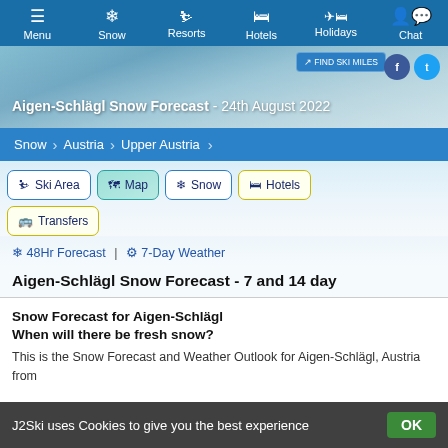Menu | Snow | Resorts | Hotels | Holidays | Chat
Aigen-Schlägl Snow Forecast - 24th August 2022
Snow > Austria > Upper Austria
Ski Area | Map | Snow | Hotels | Transfers
❄ 48Hr Forecast | ⚙ 7-Day Weather
Aigen-Schlägl Snow Forecast - 7 and 14 day
Snow Forecast for Aigen-Schlägl
When will there be fresh snow?
This is the Snow Forecast and Weather Outlook for Aigen-Schlägl, Austria from J2Ski uses Cookies to give you the best experience
J2Ski uses Cookies to give you the best experience  OK